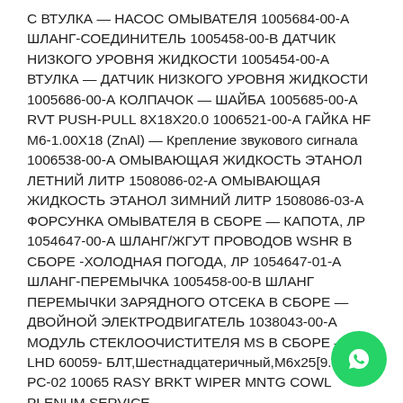С ВТУЛКА — НАСОС ОМЫВАТЕЛЯ 1005684-00-А ШЛАНГ-СОЕДИНИТЕЛЬ 1005458-00-В ДАТЧИК НИЗКОГО УРОВНЯ ЖИДКОСТИ 1005454-00-А ВТУЛКА — ДАТЧИК НИЗКОГО УРОВНЯ ЖИДКОСТИ 1005686-00-А КОЛПАЧОК — ШАЙБА 1005685-00-А RVT PUSH-PULL 8X18X20.0 1006521-00-А ГАЙКА HF M6-1.00X18 (ZnAl) — Крепление звукового сигнала 1006538-00-А ОМЫВАЮЩАЯ ЖИДКОСТЬ ЭТАНОЛ ЛЕТНИЙ ЛИТР 1508086-02-А ОМЫВАЮЩАЯ ЖИДКОСТЬ ЭТАНОЛ ЗИМНИЙ ЛИТР 1508086-03-А ФОРСУНКА ОМЫВАТЕЛЯ В СБОРЕ — КАПОТА, ЛР 1054647-00-А ШЛАНГ/ЖГУТ ПРОВОДОВ WSHR В СБОРЕ -ХОЛОДНАЯ ПОГОДА, ЛР 1054647-01-А ШЛАНГ-ПЕРЕМЫЧКА 1005458-00-В ШЛАНГ ПЕРЕМЫЧКИ ЗАРЯДНОГО ОТСЕКА В СБОРЕ — ДВОЙНОЙ ЭЛЕКТРОДВИГАТЕЛЬ 1038043-00-А МОДУЛЬ СТЕКЛООЧИСТИТЕЛЯ MS В СБОРЕ — LHD 60059- БЛТ,Шестнадцатеричный,М6х25[9.8]-РС-02 10065 RASY BRKT WIPER MNTG COWL PLENUM SERVICE
[Figure (other): WhatsApp contact button (green circle with phone/chat icon)]